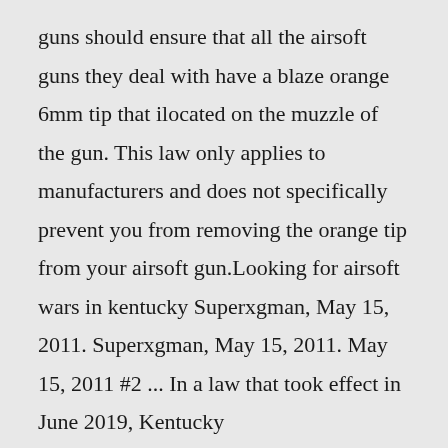guns should ensure that all the airsoft guns they deal with have a blaze orange 6mm tip that ilocated on the muzzle of the gun. This law only applies to manufacturers and does not specifically prevent you from removing the orange tip from your airsoft gun.Looking for airsoft wars in kentucky Superxgman, May 15, 2011. Superxgman, May 15, 2011. May 15, 2011 #2 ... In a law that took effect in June 2019, Kentucky